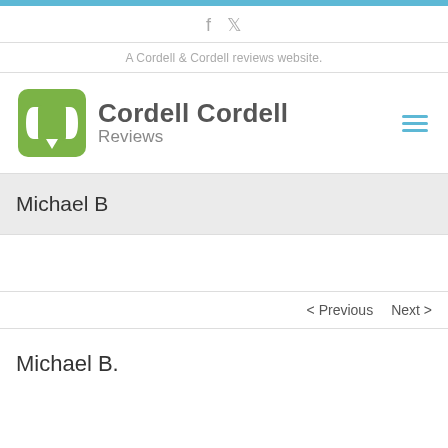A Cordell & Cordell reviews website.
[Figure (logo): Cordell Cordell Reviews logo with green speech bubble icon and bold text]
Michael B
< Previous   Next >
Michael B.